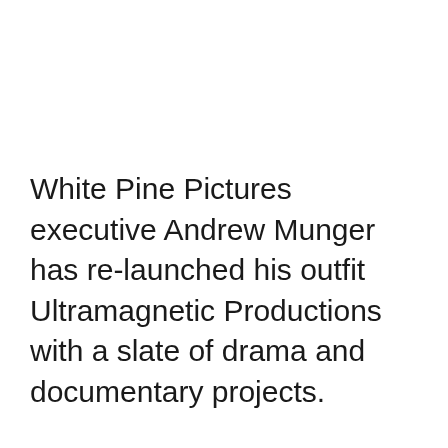White Pine Pictures executive Andrew Munger has re-launched his outfit Ultramagnetic Productions with a slate of drama and documentary projects.